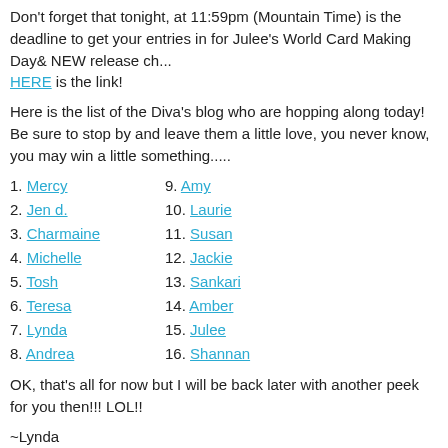Don't forget that tonight, at 11:59pm (Mountain Time) is the deadline to get your entries in for Julee's World Card Making Day& NEW release ch... HERE is the link!
Here is the list of the Diva's blog who are hopping along today! Be sure to stop by and leave them a little love, you never know, you may win a little something.....
1. Mercy
2. Jen d.
3. Charmaine
4. Michelle
5. Tosh
6. Teresa
7. Lynda
8. Andrea
9. Amy
10. Laurie
11. Susan
12. Jackie
13. Sankari
14. Amber
15. Julee
16. Shannan
OK, that's all for now but I will be back later with another peek for you then!!! LOL!!
~Lynda
Oct 8, 2010 6:00:00 AM | Gift Ideas, Home Decor, Verve